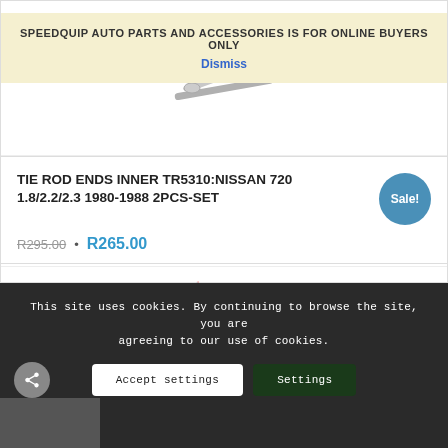[Figure (photo): Auto parts - small metal rods/pins on white background]
SPEEDQUIP AUTO PARTS AND ACCESSORIES IS FOR ONLINE BUYERS ONLY
Dismiss
TIE ROD ENDS INNER TR5310:NISSAN 720 1.8/2.2/2.3 1980-1988 2PCS-SET
R295.00 • R265.00
Sale!
Add to cart
Show Details
This site uses cookies. By continuing to browse the site, you are agreeing to our use of cookies.
Accept settings
Settings